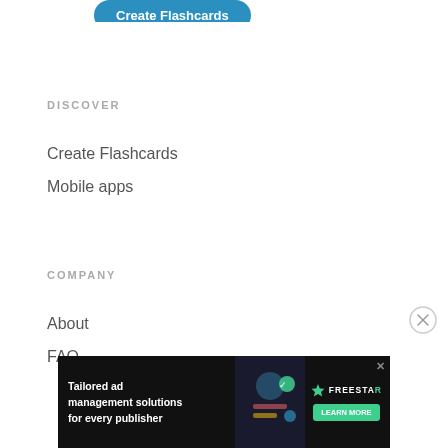[Figure (screenshot): Partially visible blue 'Create Flashcards' button at top]
DISCOVER
Create Flashcards
Mobile apps
COMPANY
About
FAQ
[Figure (screenshot): Close (X) button circle on right side]
[Figure (infographic): Advertisement banner: Tailored ad management solutions for every publisher, FREESTAR logo, LEARN MORE button, dark background with illustrated graphic]